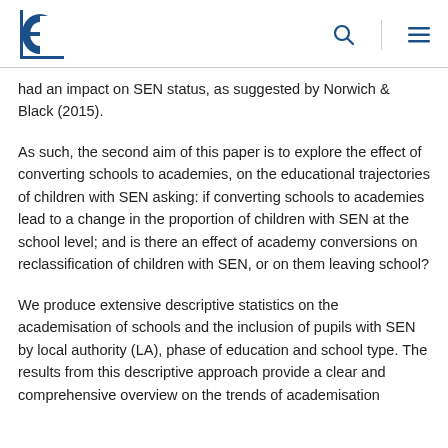[Logo and navigation icons]
had an impact on SEN status, as suggested by Norwich & Black (2015).
As such, the second aim of this paper is to explore the effect of converting schools to academies, on the educational trajectories of children with SEN asking: if converting schools to academies lead to a change in the proportion of children with SEN at the school level; and is there an effect of academy conversions on reclassification of children with SEN, or on them leaving school?
We produce extensive descriptive statistics on the academisation of schools and the inclusion of pupils with SEN by local authority (LA), phase of education and school type. The results from this descriptive approach provide a clear and comprehensive overview on the trends of academisation